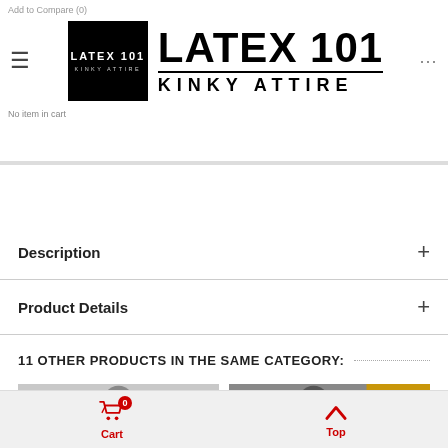Add to Compare (0)
[Figure (logo): Latex 101 Kinky Attire logo — black square with white text 'LATEX 101 / KINKY ATTIRE' on the left, large bold 'LATEX 101' text and 'KINKY ATTIRE' on the right]
Description
Product Details
11 OTHER PRODUCTS IN THE SAME CATEGORY:
[Figure (photo): Two product thumbnail photos showing models wearing latex attire]
Cart  Top